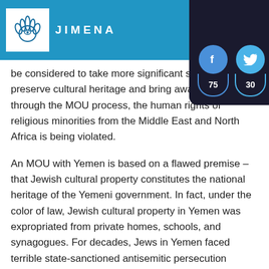JIMENA
[Figure (infographic): Social share buttons overlay showing Facebook (75), Twitter (30), WhatsApp (27), and Email (34) share counts on dark background]
be considered to take more significant steps to preserve cultural heritage and bring awareness to how through the MOU process, the human rights of religious minorities from the Middle East and North Africa is being violated.
An MOU with Yemen is based on a flawed premise – that Jewish cultural property constitutes the national heritage of the Yemeni government. In fact, under the color of law, Jewish cultural property in Yemen was expropriated from private homes, schools, and synagogues. For decades, Jews in Yemen faced terrible state-sanctioned antisemitic persecution including forced conversions to Islam, violent pogroms, and restrictions to freedom of